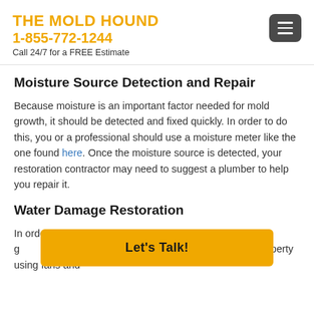THE MOLD HOUND
1-855-772-1244
Call 24/7 for a FREE Estimate
Moisture Source Detection and Repair
Because moisture is an important factor needed for mold growth, it should be detected and fixed quickly. In order to do this, you or a professional should use a moisture meter like the one found here. Once the moisture source is detected, your restoration contractor may need to suggest a plumber to help you repair it.
Water Damage Restoration
In order to [obscured] ge, we suggest [obscured] They will typically dry your property using fans and
[Figure (other): Yellow 'Let's Talk!' call-to-action button overlay]